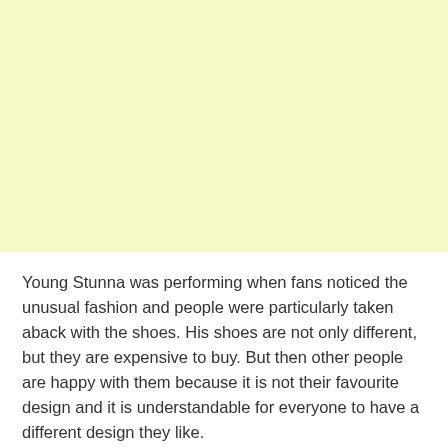[Figure (other): Large light yellow/cream colored rectangular image placeholder area]
Young Stunna was performing when fans noticed the unusual fashion and people were particularly taken aback with the shoes. His shoes are not only different, but they are expensive to buy. But then other people are happy with them because it is not their favourite design and it is understandable for everyone to have a different design they like.